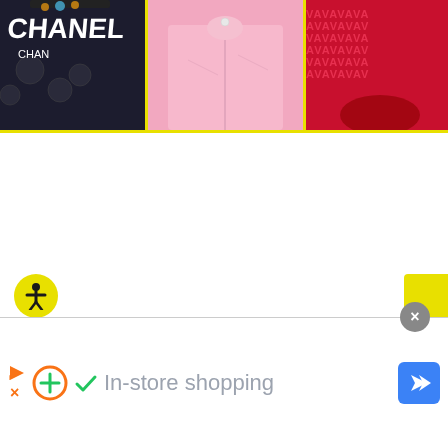[Figure (photo): Three product images side by side with yellow borders: left is a dark Chanel-branded fabric with skull pattern, center is a pink shirt/blouse, right is a red garment with repeated letter pattern. Yellow border at bottom.]
[Figure (screenshot): Bottom UI bar showing a close button (gray circle with X), accessibility icon (yellow circle with person), orange play and close icons, green plus circle icon, green checkmark, gray 'In-store shopping' text, blue navigation arrow button on right, and yellow button on far right edge.]
In-store shopping